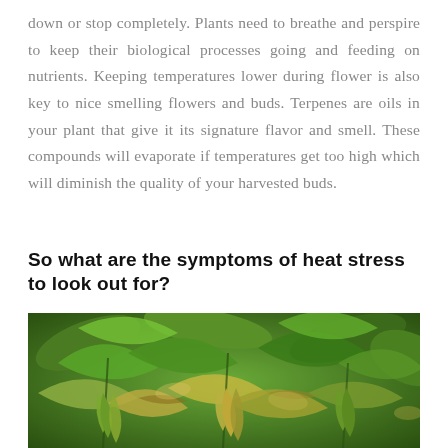down or stop completely. Plants need to breathe and perspire to keep their biological processes going and feeding on nutrients. Keeping temperatures lower during flower is also key to nice smelling flowers and buds. Terpenes are oils in your plant that give it its signature flavor and smell. These compounds will evaporate if temperatures get too high which will diminish the quality of your harvested buds.
So what are the symptoms of heat stress to look out for?
[Figure (photo): Close-up photograph of cannabis plants showing heat stress symptoms — leaves appear drooping, curling, and yellowing/browning at edges, surrounded by green foliage.]